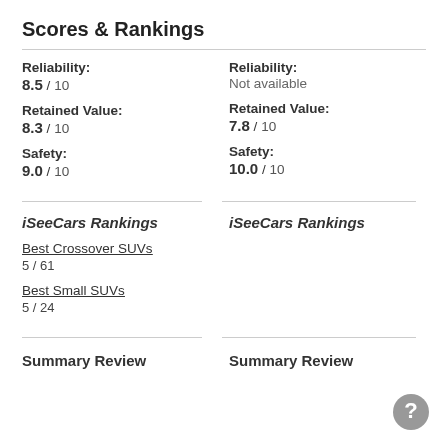Scores & Rankings
Reliability: 8.5 / 10
Reliability: Not available
Retained Value: 8.3 / 10
Retained Value: 7.8 / 10
Safety: 9.0 / 10
Safety: 10.0 / 10
iSeeCars Rankings
iSeeCars Rankings
Best Crossover SUVs
5 / 61
Best Small SUVs
5 / 24
Summary Review
Summary Review